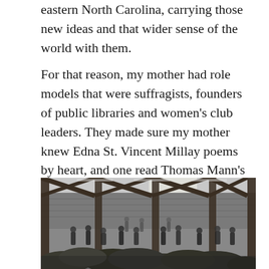eastern North Carolina, carrying those new ideas and that wider sense of the world with them.
For that reason, my mother had role models that were suffragists, founders of public libraries and women's club leaders. They made sure my mother knew Edna St. Vincent Millay poems by heart, and one read Thomas Mann's classic novel The Magic Mountain to my mother's class every day after lunch.
[Figure (photo): Black and white historical photograph of a large indoor market or warehouse with wooden structural beams and columns. Many people are gathered among large piles of what appears to be tobacco or produce on the floor. Brick walls are visible in the background.]